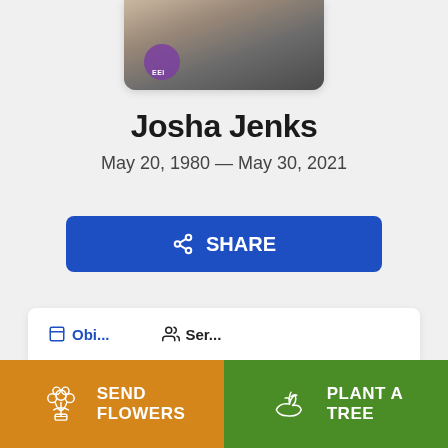[Figure (photo): Partially visible photo of a person, cropped at top, showing hair and a purple circular badge/button on clothing]
Josha Jenks
May 20, 1980 — May 30, 2021
Share
Obi... (partially visible tab text)
SEND FLOWERS
PLANT A TREE